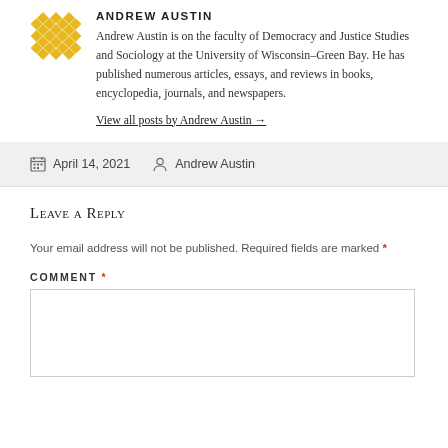ANDREW AUSTIN
Andrew Austin is on the faculty of Democracy and Justice Studies and Sociology at the University of Wisconsin–Green Bay. He has published numerous articles, essays, and reviews in books, encyclopedia, journals, and newspapers.
View all posts by Andrew Austin →
April 14, 2021   Andrew Austin
Leave a Reply
Your email address will not be published. Required fields are marked *
COMMENT *